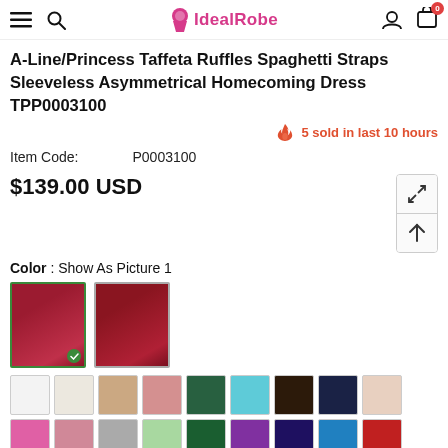IdealRobe
A-Line/Princess Taffeta Ruffles Spaghetti Straps Sleeveless Asymmetrical Homecoming Dress TPP0003100
5 sold in last 10 hours
Item Code:   P0003100
$139.00 USD
Color : Show As Picture 1
[Figure (photo): Two dress thumbnail images showing a burgundy/red A-line homecoming dress, one selected with a green checkmark]
[Figure (photo): Grid of fabric color swatches: white, off-white, champagne, blush, hunter green, tiffany blue, dark brown, navy, nude, hot pink, dusty pink, silver, mint, emerald, purple, dark purple, turquoise, red, lime green, chocolate, and more partial swatches at bottom]